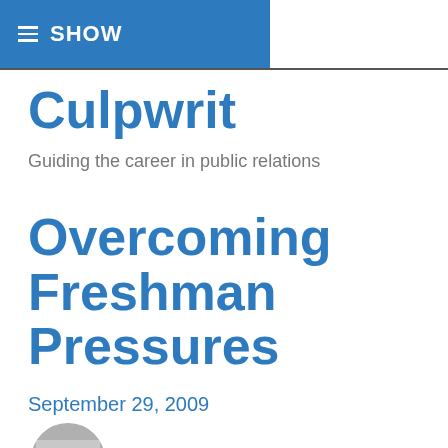≡ SHOW
Culpwrit
Guiding the career in public relations
Overcoming Freshman Pressures
September 29, 2009
[Figure (photo): Partial circular thumbnail image, appears to show a person wearing a hat with text 'is exams']